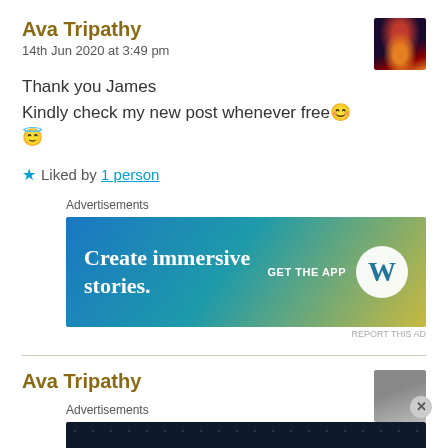Ava Tripathy
14th Jun 2020 at 3:49 pm
Thank you James
Kindly check my new post whenever free 😊😇
★ Liked by 1 person
Advertisements
[Figure (infographic): WordPress ad banner: Create immersive stories. GET THE APP with WordPress logo]
REPORT THIS AD
Ava Tripathy
Advertisements
[Figure (infographic): WordPress dark ad banner: Create surveys, polls, quizzes, and forms. WordPress and TrustScan logos]